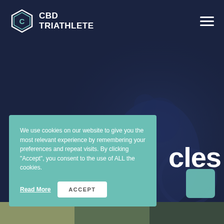[Figure (screenshot): CBD Triathlete website screenshot showing dark navy background with cyclist silhouette, logo in top left, hamburger menu top right, partial hero text 'cles' visible, and a teal cookie consent banner overlay]
CBD TRIATHLETE
We use cookies on our website to give you the most relevant experience by remembering your preferences and repeat visits. By clicking “Accept”, you consent to the use of ALL the cookies.
Read More
ACCEPT